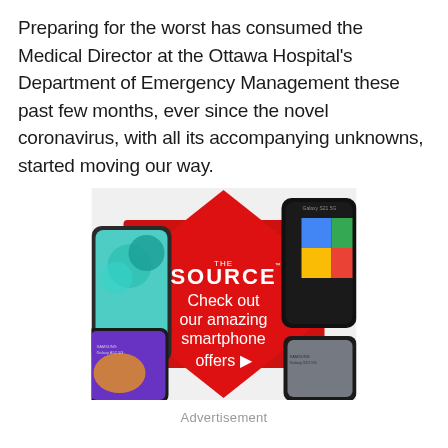Preparing for the worst has consumed the Medical Director at the Ottawa Hospital's Department of Emergency Management these past few months, ever since the novel coronavirus, with all its accompanying unknowns, started moving our way.
[Figure (illustration): Advertisement banner for The Source electronics retailer showing multiple Samsung smartphones on a red diamond-shaped background with text 'THE SOURCE - Check out our amazing smartphone offers']
Advertisement